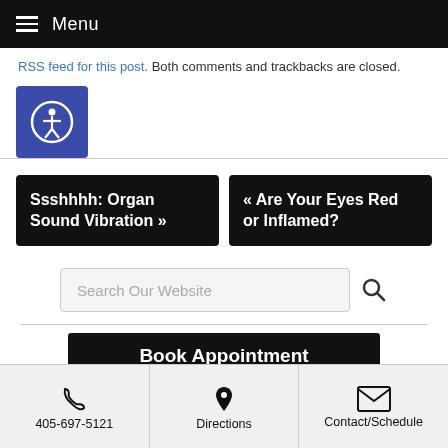Menu
RSS feed for this post. Both comments and trackbacks are closed.
[Figure (illustration): Accessibility icon — white person figure in circle on blue/indigo square background]
Ssshhhh: Organ Sound Vibration »
« Are Your Eyes Red or Inflamed?
Search Our Website
Book Appointment
405-697-5121
Directions
Contact/Schedule